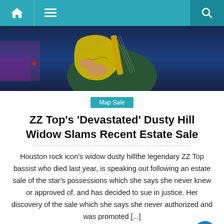Navigation bar with home, menu, and search icons
[Figure (photo): Guitarist performing on stage with a yellow electric guitar against a blue background]
Map Sale
ZZ Top’s ‘Devastated’ Dusty Hill Widow Slams Recent Estate Sale
Houston rock icon’s widow dusty hillthe legendary ZZ Top bassist who died last year, is speaking out following an estate sale of the star’s possessions which she says she never knew or approved of, and has decided to sue in justice. Her discovery of the sale which she says she never authorized and was promoted [...]
June 28, 2022  Christopher B. Hayes  Comments off